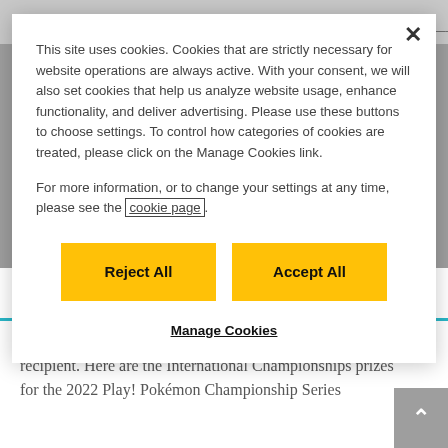[Figure (screenshot): Partially visible gray page header bar at top of page behind cookie modal]
This site uses cookies. Cookies that are strictly necessary for website operations are always active. With your consent, we will also set cookies that help us analyze website usage, enhance functionality, and deliver advertising. Please use these buttons to choose settings. To control how categories of cookies are treated, please click on the Manage Cookies link.
For more information, or to change your settings at any time, please see the cookie page.
Reject All
Accept All
Manage Cookies
Prize Award Information
The format of each prize is dependent on the age of the recipient. Here are the International Championships prizes for the 2022 Play! Pokémon Championship Series